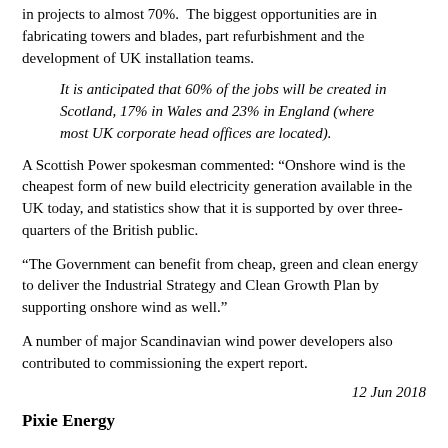in projects to almost 70%.  The biggest opportunities are in fabricating towers and blades, part refurbishment and the development of UK installation teams.
It is anticipated that 60% of the jobs will be created in Scotland, 17% in Wales and 23% in England (where most UK corporate head offices are located).
A Scottish Power spokesman commented: “Onshore wind is the cheapest form of new build electricity generation available in the UK today, and statistics show that it is supported by over three-quarters of the British public.
“The Government can benefit from cheap, green and clean energy to deliver the Industrial Strategy and Clean Growth Plan by supporting onshore wind as well.”
A number of major Scandinavian wind power developers also contributed to commissioning the expert report.
12 Jun 2018
Pixie Energy
[Figure (logo): Pixie Energy logo — partial orange/gold sparkle/star graphic visible at bottom left]